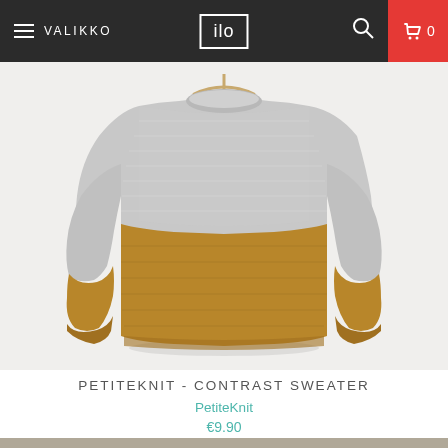VALIKKO | ilo | 0
[Figure (photo): A two-tone knit sweater hanging on a wooden hanger against a white wall. The upper body is light grey and the lower body and cuffs are mustard/golden yellow. The sweater has a round ribbed neckline and long sleeves.]
PETITEKNIT - CONTRAST SWEATER
PetiteKnit
€9.90